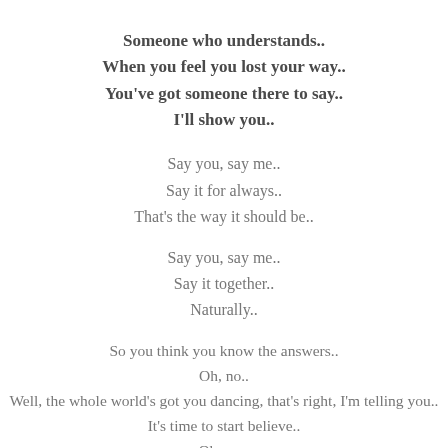Someone who understands..
When you feel you lost your way..
You've got someone there to say..
I'll show you..
Say you, say me..
Say it for always..
That's the way it should be..
Say you, say me..
Say it together..
Naturally..
So you think you know the answers..
Oh, no..
Well, the whole world's got you dancing, that's right, I'm telling you..
It's time to start believe..
Oh yes..
Believe in who you are, you are a shining star..